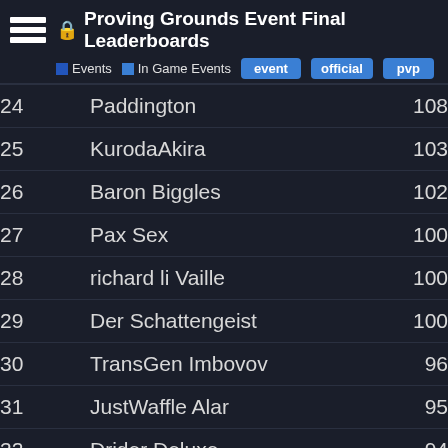Proving Grounds Event Final Leaderboards
| Rank | Name | Score |
| --- | --- | --- |
| 24 | Paddington | 108 |
| 25 | KurodaAkira | 103 |
| 26 | Baron Biggles | 102 |
| 27 | Pax Sex | 100 |
| 28 | richard li Vaille | 100 |
| 29 | Der Schattengeist | 100 |
| 30 | TransGen Imbovov | 96 |
| 31 | JustWaffle Alar | 95 |
| 32 | Drider Deluxe | 94 |
| 33 | Apocrit Vespulus | 92 |
| 34 | Babbs Cor |  |